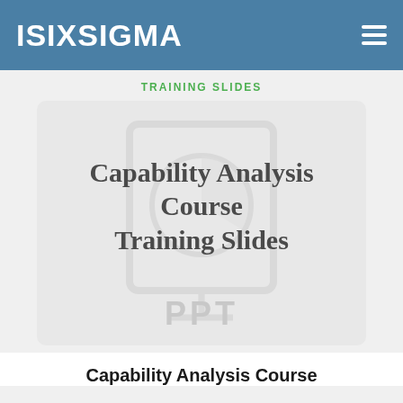ISIXSIGMA
TRAINING SLIDES
[Figure (illustration): A PowerPoint file thumbnail icon showing a slide icon with a pie chart graphic and 'PPT' label at the bottom, overlaid with the text 'Capability Analysis Course Training Slides' in large serif font.]
Capability Analysis Course